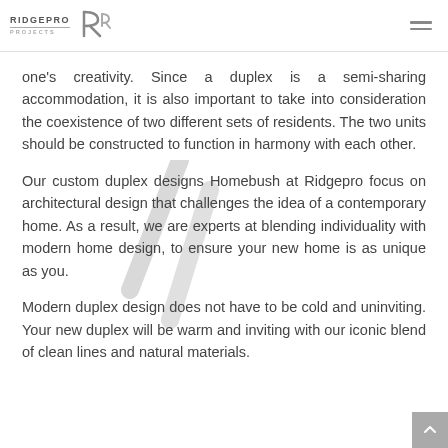RIDGEPRO PROJECTS
one's creativity. Since a duplex is a semi-sharing accommodation, it is also important to take into consideration the coexistence of two different sets of residents. The two units should be constructed to function in harmony with each other.
Our custom duplex designs Homebush at Ridgepro focus on architectural design that challenges the idea of a contemporary home. As a result, we are experts at blending individuality with modern home design, to ensure your new home is as unique as you.
Modern duplex design does not have to be cold and uninviting. Your new duplex will be warm and inviting with our iconic blend of clean lines and natural materials.